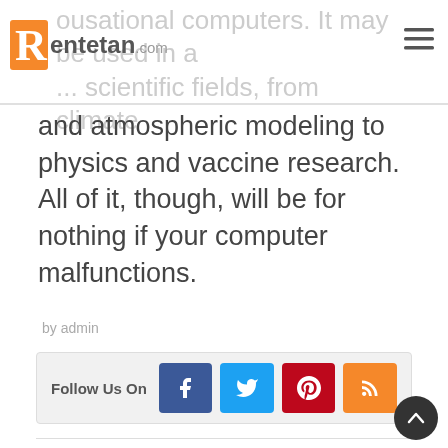Rentetan.com
ousational computers. It may be used in a ... scientific fields, from climate and atmospheric modeling to physics and vaccine research. All of it, though, will be for nothing if your computer malfunctions.
by admin
Follow Us On
Previous post
According to LastPass, your password was not leaked
Next post
How to Make Smart Speakers Sound Like a Home Theater